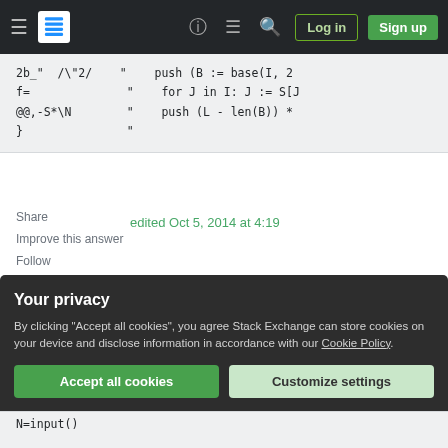Stack Exchange navigation bar with Log in and Sign up buttons
2b_"  /\"2/    "    push (B := base(I, 2
f=              "    for J in I: J := S[J
@@,-S*\N         "    push (L - len(B)) *
}               "
Share
Improve this answer
Follow
edited Oct 5, 2014 at 4:19
answered Oct 4, 2014 at 6:13
Dennis
207k  41  357  807
Your privacy
By clicking "Accept all cookies", you agree Stack Exchange can store cookies on your device and disclose information in accordance with our Cookie Policy.
Accept all cookies
Customize settings
N=input()